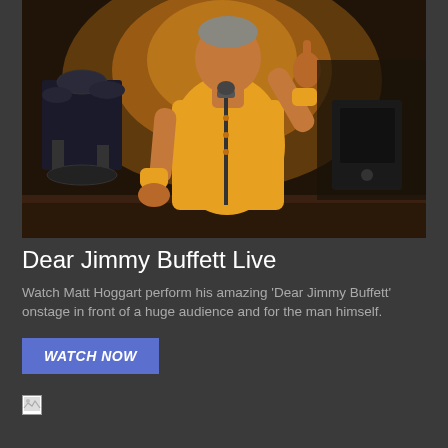[Figure (photo): A man in a yellow t-shirt and yellow wristbands performing on stage at a microphone, pointing upward with one finger, with drum kit visible in the background.]
Dear Jimmy Buffett Live
Watch Matt Hoggart perform his amazing 'Dear Jimmy Buffett' onstage in front of a huge audience and for the man himself.
[Figure (photo): Small broken image thumbnail icon]